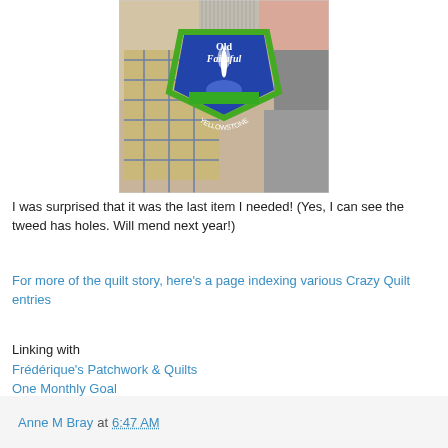[Figure (photo): Close-up photo of a patchwork/crazy quilt showing various fabric patches including plaid, striped, and textured fabrics, with an embroidered 'Old Faithful Yellowstone' patch in the center]
I was surprised that it was the last item I needed! (Yes, I can see the tweed has holes. Will mend next year!)
For more of the quilt story, here's a page indexing various Crazy Quilt entries
Linking with
Frédérique's Patchwork & Quilts
One Monthly Goal
Anne M Bray at 6:47 AM